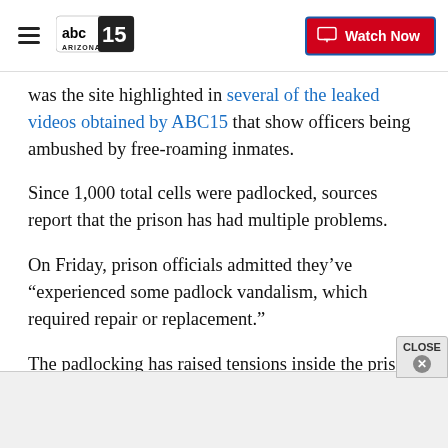ABC15 Arizona — Watch Now
was the site highlighted in several of the leaked videos obtained by ABC15 that show officers being ambushed by free-roaming inmates.
Since 1,000 total cells were padlocked, sources report that the prison has had multiple problems.
On Friday, prison officials admitted they've “experienced some padlock vandalism, which required repair or replacement.”
The padlocking has raised tensions inside the priso...